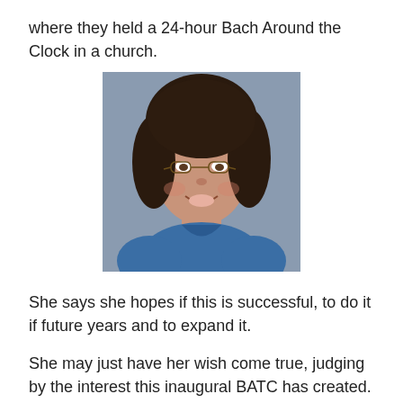where they held a 24-hour Bach Around the Clock in a church.
[Figure (photo): Portrait photo of a woman with curly dark hair, glasses, and a blue top, smiling, against a gray background.]
She says she hopes if this is successful, to do it if future years and to expand it.
She may just have her wish come true, judging by the interest this inaugural BATC has created.